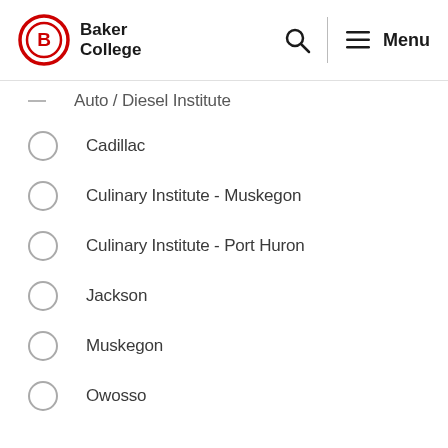Baker College — Search, Menu
Auto / Diesel Institute
Cadillac
Culinary Institute - Muskegon
Culinary Institute - Port Huron
Jackson
Muskegon
Owosso